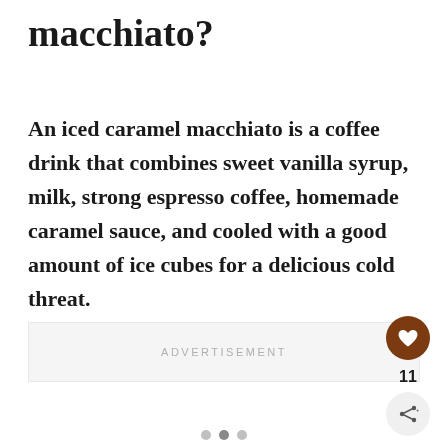macchiato?
An iced caramel macchiato is a coffee drink that combines sweet vanilla syrup, milk, strong espresso coffee, homemade caramel sauce, and cooled with a good amount of ice cubes for a delicious cold threat.
ADVERTISEMENT